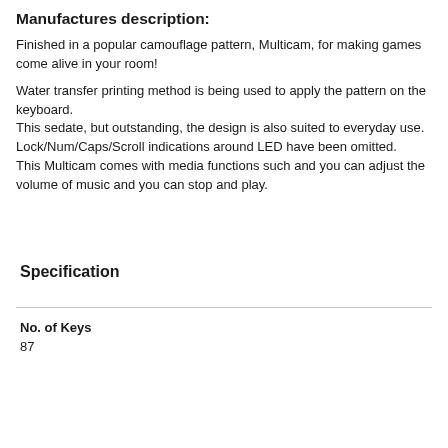Manufactures description:
Finished in a popular camouflage pattern, Multicam, for making games come alive in your room!
Water transfer printing method is being used to apply the pattern on the keyboard.
This sedate, but outstanding, the design is also suited to everyday use.
Lock/Num/Caps/Scroll indications around LED have been omitted.
This Multicam comes with media functions such and you can adjust the volume of music and you can stop and play.
Specification
| No. of Keys |
| --- |
| 87 |